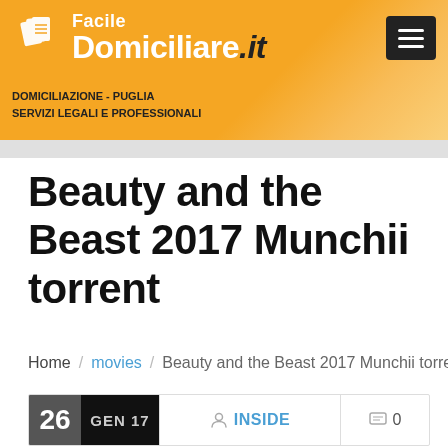[Figure (logo): FacileDomiciliare.it logo with orange banner header, book icon, subtitle DOMICILIAZIONE - PUGLIA SERVIZI LEGALI E PROFESSIONALI]
Beauty and the Beast 2017 Munchii torrent
Home / movies / Beauty and the Beast 2017 Munchii torrent
26 GEN 17  INSIDE  0